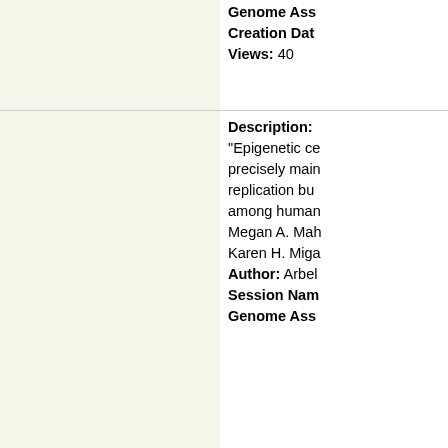Genome Ass… Creation Dat… Views: 40
Description: "Epigenetic ce… precisely main… replication bu… among human… Megan A. Mah… Karen H. Miga… Author: Arbel… Session Nam… Genome Ass… hub_29985255… Creation Dat… Views: 66
Description: Author: QAte… Session Nam… hg38_highligh… Genome Ass… Creation Dat… Views: 51